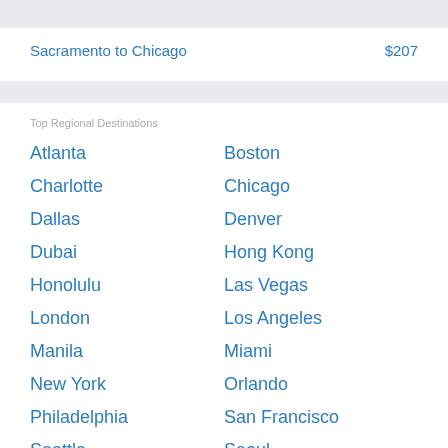Sacramento to Chicago    $207
Top Regional Destinations
Atlanta
Boston
Charlotte
Chicago
Dallas
Denver
Dubai
Hong Kong
Honolulu
Las Vegas
London
Los Angeles
Manila
Miami
New York
Orlando
Philadelphia
San Francisco
Seattle
Seoul